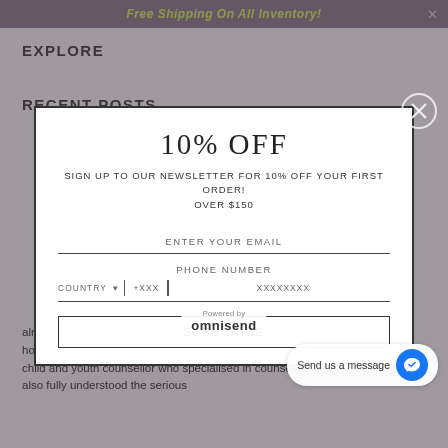Free Shipping On All Inventory!
EXPLORE
RECENT POSTS
10% OFF
SIGN UP TO OUR NEWSLETTER FOR 10% OFF YOUR FIRST ORDER! OVER $150
ENTER YOUR EMAIL
PHONE NUMBER
COUNTRY ▾  +XXX | XXXXXXXX
SUBSCRIBE
already knew from firsthand experience on the runway and in photo shoots how uninspiring, conventional and unflattering plus-size apparel can be. As a child and youth counsellor who specialised in counselling young offenders, she also fully understood the serious
Powered by omnisend
Send us a message